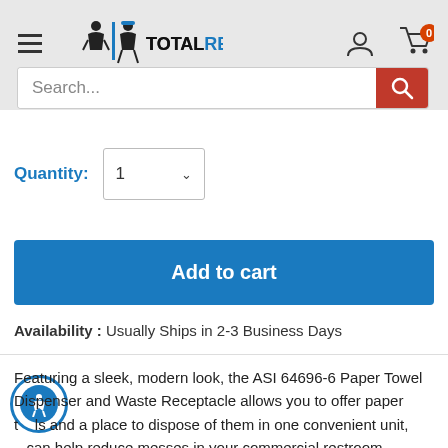TotalRestroom — Navigation header with hamburger menu, logo, account icon, cart icon (0 items), and search bar
Quantity: 1
Add to cart
Availability : Usually Ships in 2-3 Business Days
Featuring a sleek, modern look, the ASI 64696-6 Paper Towel Dispenser and Waste Receptacle allows you to offer paper towels and a place to dispose of them in one convenient unit, can help reduce messes in your commercial restroom facilities. Designed for semi-recessed mounting, the unit